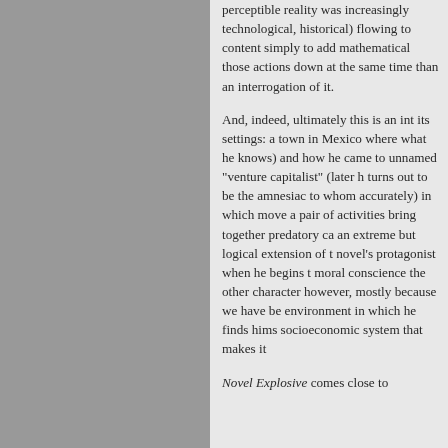perceptible reality was increasingly technological, historical) flowing to content simply to add mathematical those actions down at the same time than an interrogation of it.
And, indeed, ultimately this is an int its settings: a town in Mexico where what he knows) and how he came to unnamed "venture capitalist" (later h turns out to be the amnesiac to whor accurately) in which move a pair of activities bring together predatory ca an extreme but logical extension of t novel's protagonist when he begins t moral conscience the other character however, mostly because we have be environment in which he finds hims socioeconomic system that makes it
Novel Explosive comes close to